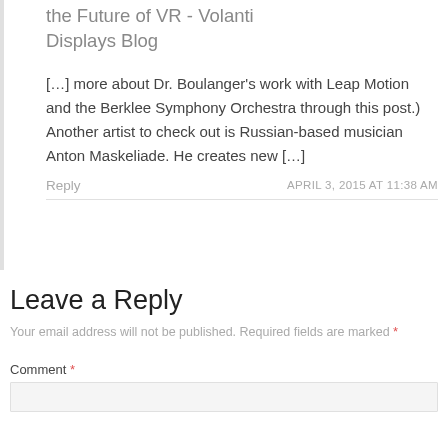the Future of VR - Volanti Displays Blog
[…] more about Dr. Boulanger's work with Leap Motion and the Berklee Symphony Orchestra through this post.) Another artist to check out is Russian-based musician Anton Maskeliade. He creates new […]
Reply   APRIL 3, 2015 AT 11:38 AM
Leave a Reply
Your email address will not be published. Required fields are marked *
Comment *